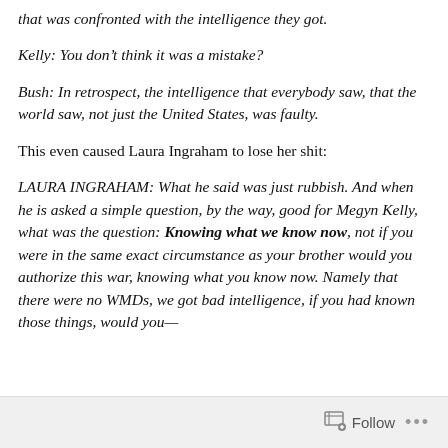that was confronted with the intelligence they got.
Kelly: You don’t think it was a mistake?
Bush: In retrospect, the intelligence that everybody saw, that the world saw, not just the United States, was faulty.
This even caused Laura Ingraham to lose her shit:
LAURA INGRAHAM: What he said was just rubbish. And when he is asked a simple question, by the way, good for Megyn Kelly, what was the question: Knowing what we know now, not if you were in the same exact circumstance as your brother would you authorize this war, knowing what you know now. Namely that there were no WMDs, we got bad intelligence, if you had known those things, would you—
Follow